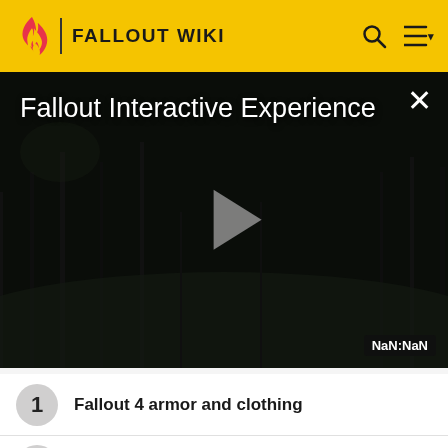FALLOUT WIKI
[Figure (screenshot): Video player showing 'Fallout Interactive Experience' with a dark post-apocalyptic scene, play button in the center, close button top-right, and NaN:NaN timestamp bottom-right]
1  Fallout 4 armor and clothing
2  Curie